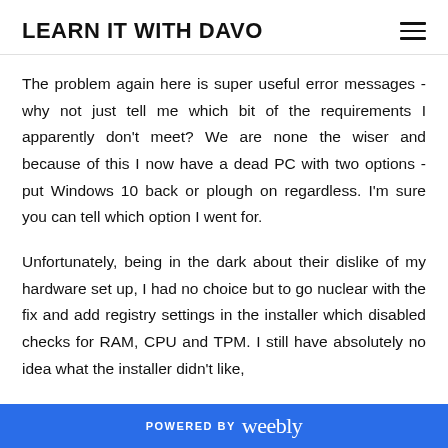LEARN IT WITH DAVO
The problem again here is super useful error messages - why not just tell me which bit of the requirements I apparently don't meet? We are none the wiser and because of this I now have a dead PC with two options - put Windows 10 back or plough on regardless. I'm sure you can tell which option I went for.
Unfortunately, being in the dark about their dislike of my hardware set up, I had no choice but to go nuclear with the fix and add registry settings in the installer which disabled checks for RAM, CPU and TPM. I still have absolutely no idea what the installer didn't like,
POWERED BY weebly